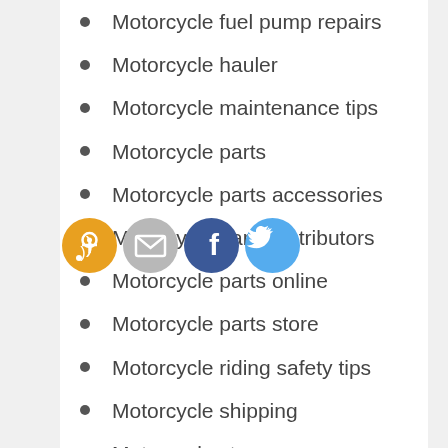Motorcycle fuel pump repairs
Motorcycle hauler
Motorcycle maintenance tips
Motorcycle parts
Motorcycle parts accessories
Motorcycle parts distributors
Motorcycle parts online
Motorcycle parts store
Motorcycle riding safety tips
Motorcycle shipping
Motorcycle stereo
Motorcycle trader